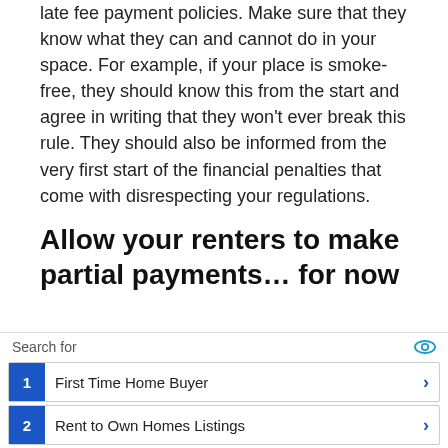late fee payment policies. Make sure that they know what they can and cannot do in your space. For example, if your place is smoke-free, they should know this from the start and agree in writing that they won't ever break this rule. They should also be informed from the very first start of the financial penalties that come with disrespecting your regulations.
Allow your renters to make partial payments… for now
As I mentioned earlier, the pandemic has made things difficult for everyone, including tenants, so
[Figure (other): Advertisement overlay with search bar and two sponsored links: 1. First Time Home Buyer, 2. Rent to Own Homes Listings]